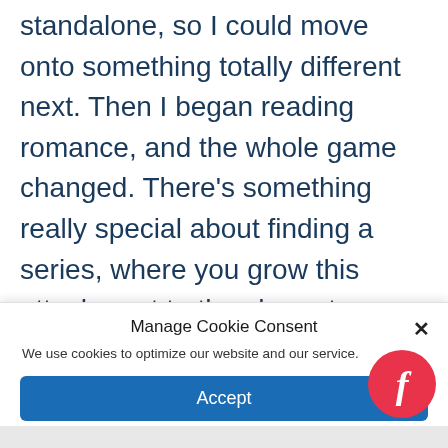standalone, so I could move onto something totally different next. Then I began reading romance, and the whole game changed. There's something really special about finding a series, where you grow this attachment to the characters, get totally immersed in the setting and wholeheartedly love each book individually but also for what it builds upon the series as a whole. The Outlander series is absolutely the...
Manage Cookie Consent
We use cookies to optimize our website and our service.
Accept
Cookie Policy  Privacy statement